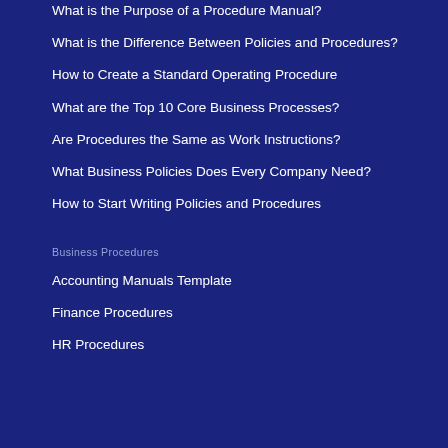What is the Purpose of a Procedure Manual?
What is the Difference Between Policies and Procedures?
How to Create a Standard Operating Procedure
What are the Top 10 Core Business Processes?
Are Procedures the Same as Work Instructions?
What Business Policies Does Every Company Need?
How to Start Writing Policies and Procedures
Business Procedures
Accounting Manuals Template
Finance Procedures
HR Procedures